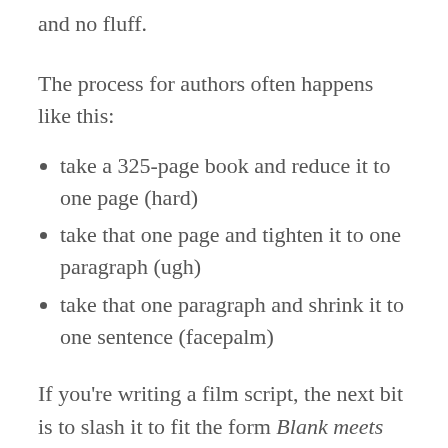and no fluff.
The process for authors often happens like this:
take a 325-page book and reduce it to one page (hard)
take that one page and tighten it to one paragraph (ugh)
take that one paragraph and shrink it to one sentence (facepalm)
If you're writing a film script, the next bit is to slash it to fit the form Blank meets Blank.
Godzilla meets The Godfather. Dirty Harry